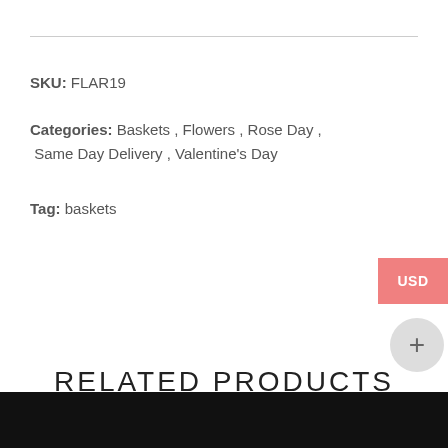SKU: FLAR19
Categories: Baskets , Flowers , Rose Day , Same Day Delivery , Valentine's Day
Tag: baskets
RELATED PRODUCTS